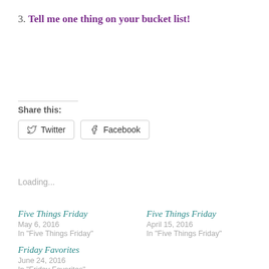3. Tell me one thing on your bucket list!
Share this:
Twitter  Facebook
Loading...
Five Things Friday
May 6, 2016
In "Five Things Friday"
Five Things Friday
April 15, 2016
In "Five Things Friday"
Friday Favorites
June 24, 2016
In "Friday Favorites"